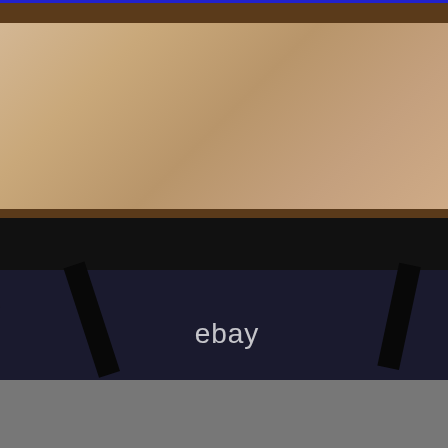[Figure (photo): Photo of the back of a framed canvas painting on an easel, showing wooden stretcher bars with beige/tan canvas back visible. The frame is dark brown wood. A black easel/stand holds the painting. The word 'ebay' appears as a watermark in white text at the bottom center of the image. The background appears to be a grey carpeted floor.]
View on eBay
Really awesome original art painting on old canvas marked Belgium with serial number hand written on the back of canvas. Signed Robert or Roberto (difficult to decifer). DONT MISS OUT ON THIS ONE OF A KIND AMAZING PAINTING! I wish I had the time to